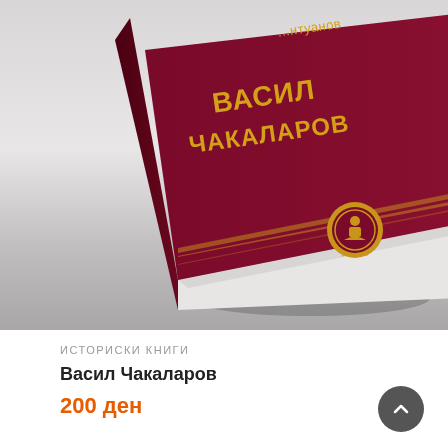[Figure (photo): A dark maroon/crimson hardcover book titled 'Васил Чакаларов' in golden Cyrillic letters, shown at an angle with a publisher logo at the bottom, set against a grey gradient background.]
ИСТОРИСКИ КНИГИ
Васил Чакаларов
200 ден